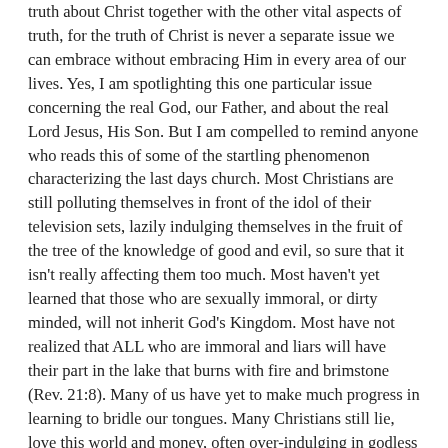truth about Christ together with the other vital aspects of truth, for the truth of Christ is never a separate issue we can embrace without embracing Him in every area of our lives. Yes, I am spotlighting this one particular issue concerning the real God, our Father, and about the real Lord Jesus, His Son. But I am compelled to remind anyone who reads this of some of the startling phenomenon characterizing the last days church. Most Christians are still polluting themselves in front of the idol of their television sets, lazily indulging themselves in the fruit of the tree of the knowledge of good and evil, so sure that it isn't really affecting them too much. Most haven't yet learned that those who are sexually immoral, or dirty minded, will not inherit God's Kingdom. Most have not realized that ALL who are immoral and liars will have their part in the lake that burns with fire and brimstone (Rev. 21:8). Many of us have yet to make much progress in learning to bridle our tongues. Many Christians still lie, love this world and money, often over-indulging in godless chatter with ungodly friends and family. And, most Christians are still playing with secret, or not so secret sin that destroys their good conscience and thus their faith and true love. (1Tim.1:5)
Any one of these particular things continuing to characterize